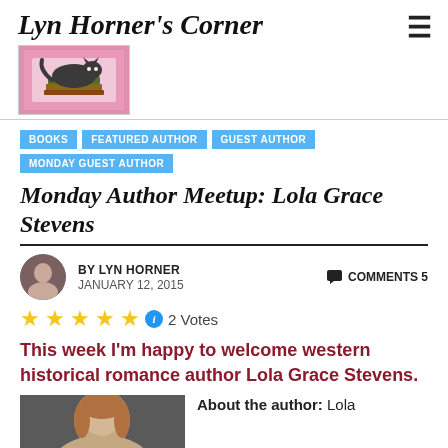Lyn Horner's Corner
[Figure (photo): Pink background logo image with a cat lying on books]
BOOKS
FEATURED AUTHOR
GUEST AUTHOR
MONDAY GUEST AUTHOR
Monday Author Meetup: Lola Grace Stevens
BY LYN HORNER  JANUARY 12, 2015  COMMENTS 5
2 Votes
This week I'm happy to welcome western historical romance author Lola Grace Stevens.
About the author: Lola